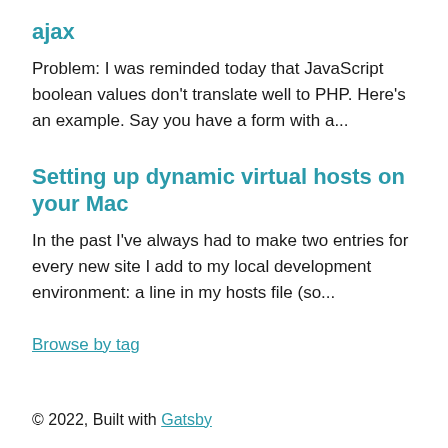ajax
Problem: I was reminded today that JavaScript boolean values don't translate well to PHP. Here's an example. Say you have a form with a...
Setting up dynamic virtual hosts on your Mac
In the past I've always had to make two entries for every new site I add to my local development environment: a line in my hosts file (so...
Browse by tag
© 2022, Built with Gatsby